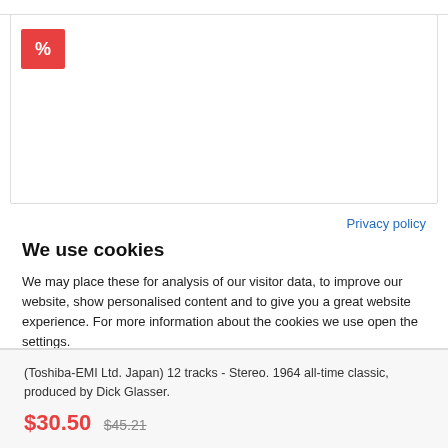[Figure (other): Product card with red percent discount badge in top-left corner]
Privacy policy
We use cookies
We may place these for analysis of our visitor data, to improve our website, show personalised content and to give you a great website experience. For more information about the cookies we use open the settings.
Accept all
Deny
No, adjust
(Toshiba-EMI Ltd. Japan) 12 tracks - Stereo. 1964 all-time classic, produced by Dick Glasser.
$30.50 $45.21